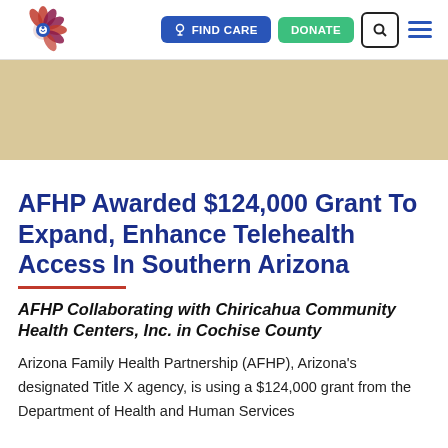[Figure (logo): AFHP logo - decorative flower/sun design in red and maroon with a circular element]
FIND CARE   DONATE
[Figure (photo): Hero banner image placeholder in tan/beige color]
AFHP Awarded $124,000 Grant To Expand, Enhance Telehealth Access In Southern Arizona
AFHP Collaborating with Chiricahua Community Health Centers, Inc. in Cochise County
Arizona Family Health Partnership (AFHP), Arizona's designated Title X agency, is using a $124,000 grant from the Department of Health and Human Services